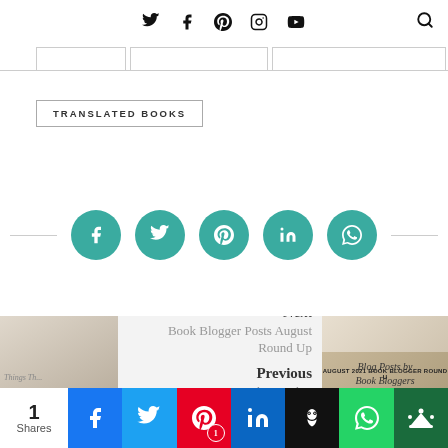Social media icons: Twitter, Facebook, Pinterest, Instagram, YouTube, Search
TRANSLATED BOOKS
[Figure (infographic): Five teal circular social share buttons: Facebook, Twitter, Pinterest, LinkedIn, WhatsApp, with horizontal divider lines on each side]
[Figure (infographic): Next/Previous navigation section with 'Next - Book Blogger Posts August Round Up' and 'Previous - Things That...' text, with thumbnail images]
[Figure (infographic): Bottom share bar with count '1 Shares' and colored buttons for Facebook, Twitter, Pinterest, LinkedIn, Buffer/Owly, WhatsApp, and Crownfire]